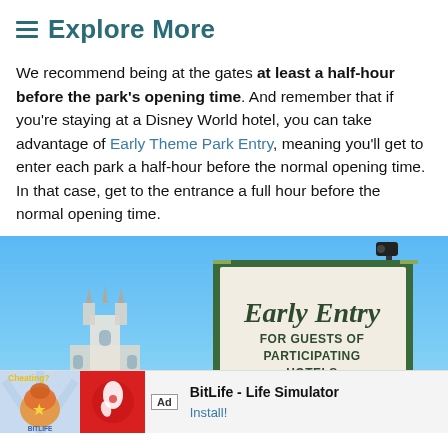≡ Explore More
We recommend being at the gates at least a half-hour before the park's opening time. And remember that if you're staying at a Disney World hotel, you can take advantage of Early Theme Park Entry, meaning you'll get to enter each park a half-hour before the normal opening time. In that case, get to the entrance a full hour before the normal opening time.
[Figure (photo): Photo of an 'Early Entry FOR GUESTS OF PARTICIPATING HOTELS' sign at a Disney World park, with blue sky and castle visible in the background. An advertisement bar for BitLife - Life Simulator appears at the bottom.]